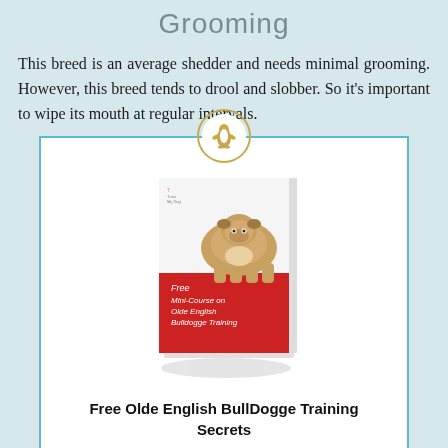Grooming
This breed is an average shedder and needs minimal grooming. However, this breed tends to drool and slobber. So it's important to wipe its mouth at regular intervals.
[Figure (illustration): Advertisement box with a golden penguin logo icon at top center, a book cover showing an Olde English Bulldog and titled 'Free Mini-Course on Olde English Bulldogge Training', enclosed in a teal-bordered white box.]
Free Olde English BullDogge Training Secrets